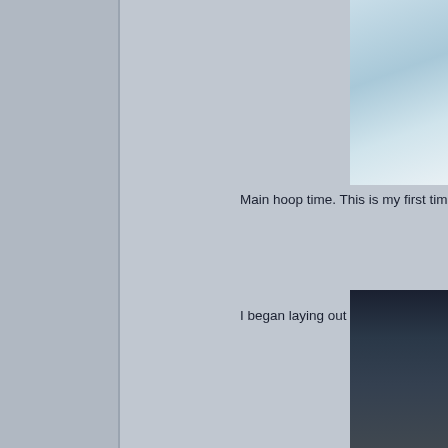[Figure (photo): Partial photo visible at top right, appears to show a light blue/white scene, possibly an interior or outdoor image]
Main hoop time. This is my first time building a cage s
I began laying out the dash bra
[Figure (photo): Partial photo visible at bottom right, appears to show a dark blue/navy material or surface, possibly automotive interior]